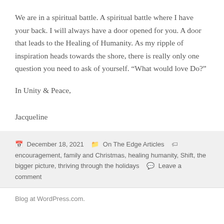We are in a spiritual battle. A spiritual battle where I have your back. I will always have a door opened for you. A door that leads to the Healing of Humanity. As my ripple of inspiration heads towards the shore, there is really only one question you need to ask of yourself. “What would love Do?”
In Unity & Peace,
Jacqueline
December 18, 2021  On The Edge Articles  encouragement, family and Christmas, healing humanity, Shift, the bigger picture, thriving through the holidays  Leave a comment
Blog at WordPress.com.